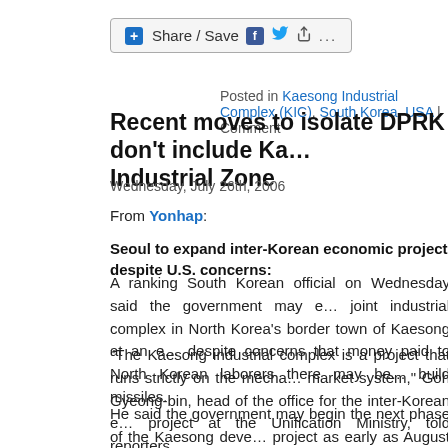[Figure (other): Share/Save social media button bar with Facebook, Twitter, and share icons]
Posted in Kaesong Industrial Complex (KIC), South Korea, USA | Comment
Recent moves to isolate DPRK don’t include Ka… Industrial Zone
Wednesday, July 26th, 2006
From Yonhap:
Seoul to expand inter-Korean economic project despite U.S. concerns:
A ranking South Korean official on Wednesday said the government may e… joint industrial complex in North Korea’s border town of Kaesong at an e… despite concerns that money paid to North Korean laborers there may be… build missiles.
“The Kaesong industrial complex is a project that runs strictly on the mecha… market system,” Goh Gyeong-bin, head of the office for the inter-Korean e… project at the Unification Ministry, told reporters.
He said the government may begin the next phase of the Kaesong deve… project as early as August or September, which would include leasing out… pyeong of land at the joint complex to South Korean companies. One pyeo… 3.3 square meters.